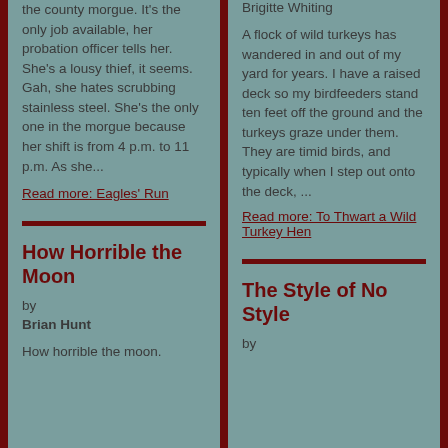the county morgue. It's the only job available, her probation officer tells her. She's a lousy thief, it seems. Gah, she hates scrubbing stainless steel. She's the only one in the morgue because her shift is from 4 p.m. to 11 p.m. As she...
Read more: Eagles' Run
How Horrible the Moon
by
Brian Hunt
How horrible the moon.
Brigitte Whiting
A flock of wild turkeys has wandered in and out of my yard for years. I have a raised deck so my birdfeeders stand ten feet off the ground and the turkeys graze under them. They are timid birds, and typically when I step out onto the deck, ...
Read more: To Thwart a Wild Turkey Hen
The Style of No Style
by